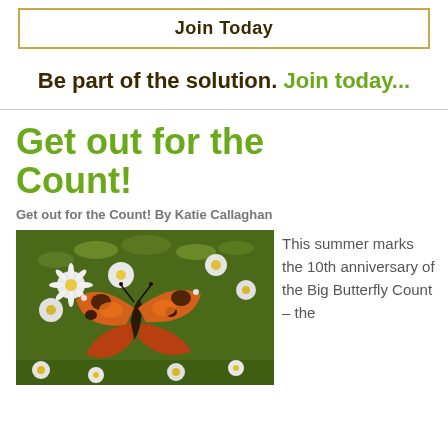Join Today
Be part of the solution. Join today...
Get out for the Count!
Get out for the Count! By Katie Callaghan
[Figure (photo): A small tortoiseshell butterfly resting on white daisy flowers in a meadow setting]
This summer marks the 10th anniversary of the Big Butterfly Count – the